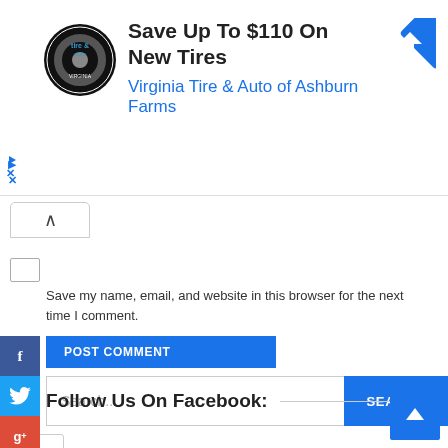[Figure (screenshot): Advertisement banner: Virginia Tire & Auto of Ashburn Farms — Save Up To $110 On New Tires, with circular tire logo and blue diamond navigation icon]
Save my name, email, and website in this browser for the next time I comment.
POST COMMENT
Search...
0
Follow Us On Facebook: